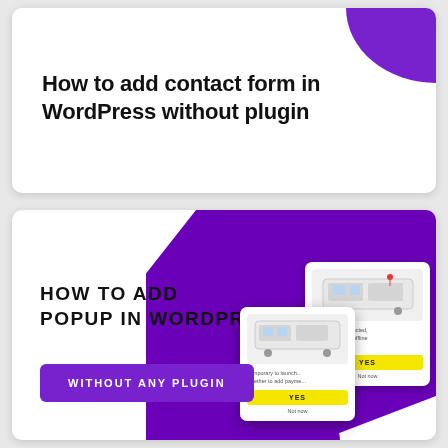[Figure (illustration): Card with purple decorative corner triangle at top right and bold title text about adding contact form in WordPress without plugin]
How to add contact form in WordPress without plugin
[Figure (illustration): Card with purple background shape on right side, bold uppercase text HOW TO ADD POPUP IN WORDPRESS, WITHOUT ANY PLUGIN button, and two mock popup dialog screenshots showing train images with YES buttons]